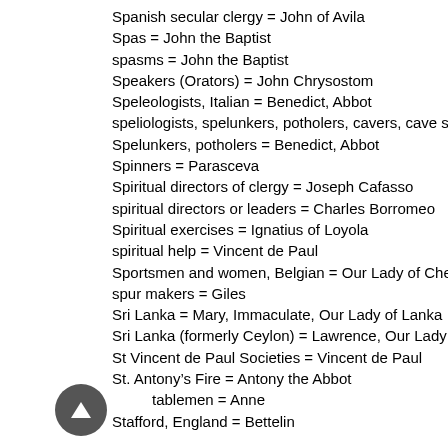Spanish secular clergy = John of Avila
Spas = John the Baptist
spasms = John the Baptist
Speakers (Orators) = John Chrysostom
Speleologists, Italian = Benedict, Abbot
speliologists, spelunkers, potholers, cavers, cave scientists
Spelunkers, potholers = Benedict, Abbot
Spinners = Parasceva
Spiritual directors of clergy = Joseph Cafasso
spiritual directors or leaders = Charles Borromeo
Spiritual exercises = Ignatius of Loyola
spiritual help = Vincent de Paul
Sportsmen and women, Belgian = Our Lady of Chevremo
spur makers = Giles
Sri Lanka = Mary, Immaculate, Our Lady of Lanka
Sri Lanka (formerly Ceylon) = Lawrence, Our Lady of Ma
St Vincent de Paul Societies = Vincent de Paul
St. Antony's Fire = Antony the Abbot
stablemen = Anne
Stafford, England = Bettelin